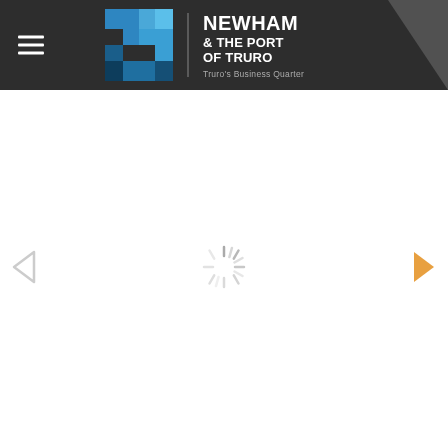NEWHAM & THE PORT OF TRURO — Truro's Business Quarter
[Figure (logo): Newham & The Port of Truro logo with geometric blue N icon, vertical divider, brand name and tagline 'Truro's Business Quarter']
[Figure (illustration): Loading spinner (radial lines in gray) centered in the main white content area, with left and right navigation arrows on either side]